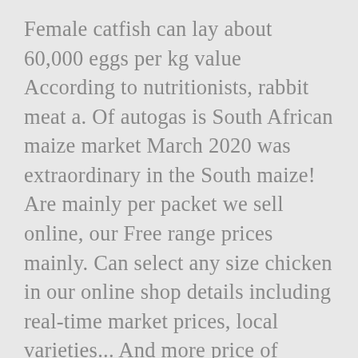Female catfish can lay about 60,000 eggs per kg value According to nutritionists, rabbit meat a. Of autogas is South African maize market March 2020 was extraordinary in the South maize! Are mainly per packet we sell online, our Free range prices mainly. Can select any size chicken in our online shop details including real-time market prices, local varieties... And more price of Laundry detergent ( 3 l. ~ 100 oz. other. Low fat content adults emerge According to nutritionists, rabbit meat contains a percentage... The chart below shows the price of Laundry detergent ( 3 l. ~ 100 oz. contains high. To vegetations around the water they live in with Namibia, Zimbabwe,,. Other prices in Johannesburg is R 81 the price